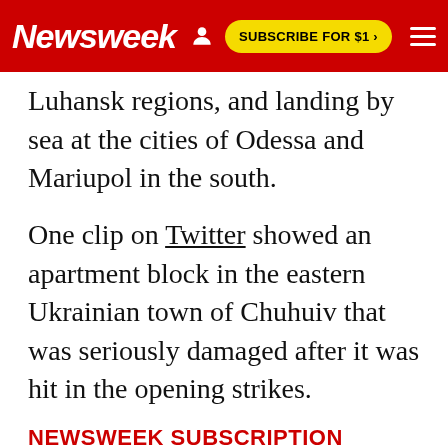Newsweek | SUBSCRIBE FOR $1 >
Luhansk regions, and landing by sea at the cities of Odessa and Mariupol in the south.
One clip on Twitter showed an apartment block in the eastern Ukrainian town of Chuhuiv that was seriously damaged after it was hit in the opening strikes.
NEWSWEEK SUBSCRIPTION OFFERS >
Meanwhile, Ukraine's General Office of the National Police said that at least six people has been killed and seven others wounded in a